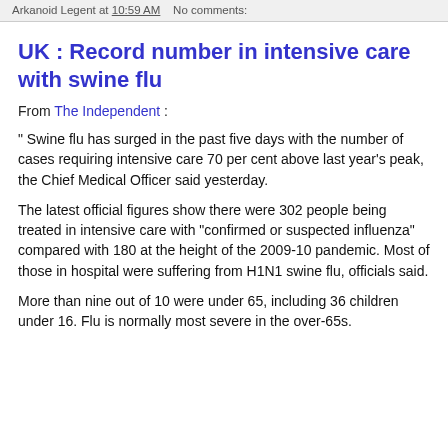Arkanoid Legent at 10:59 AM   No comments:
UK : Record number in intensive care with swine flu
From The Independent :
" Swine flu has surged in the past five days with the number of cases requiring intensive care 70 per cent above last year's peak, the Chief Medical Officer said yesterday.
The latest official figures show there were 302 people being treated in intensive care with "confirmed or suspected influenza" compared with 180 at the height of the 2009-10 pandemic. Most of those in hospital were suffering from H1N1 swine flu, officials said.
More than nine out of 10 were under 65, including 36 children under 16. Flu is normally most severe in the over-65s.